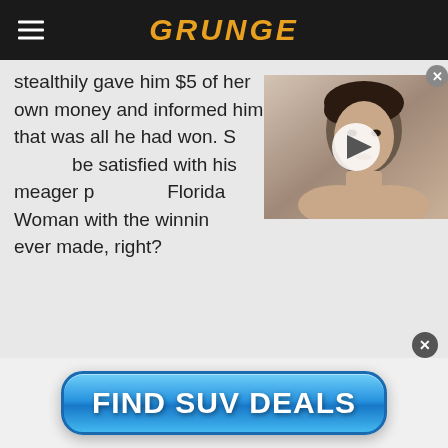GRUNGE
stealthily gave him $5 of her own money and informed him that was all he had won. S... be satisfied with his meager p... Florida Woman with the winnin... ever made, right?
[Figure (screenshot): Video thumbnail showing a woman with short dark hair and a play button overlay]
[Figure (screenshot): Advertisement button reading FIND SUV DEALS with blue gradient styling]